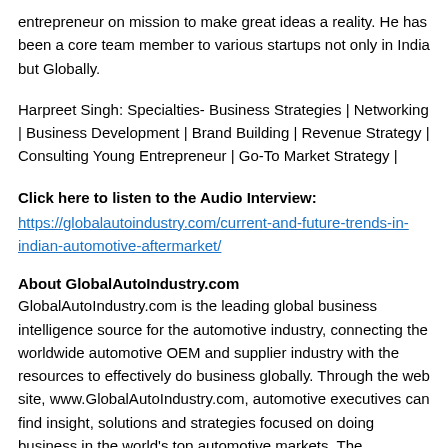entrepreneur on mission to make great ideas a reality. He has been a core team member to various startups not only in India but Globally.
Harpreet Singh: Specialties- Business Strategies | Networking | Business Development | Brand Building | Revenue Strategy | Consulting Young Entrepreneur | Go-To Market Strategy |
Click here to listen to the Audio Interview:
https://globalautoindustry.com/current-and-future-trends-in-indian-automotive-aftermarket/
About GlobalAutoIndustry.com
GlobalAutoIndustry.com is the leading global business intelligence source for the automotive industry, connecting the worldwide automotive OEM and supplier industry with the resources to effectively do business globally. Through the web site, www.GlobalAutoIndustry.com, automotive executives can find insight, solutions and strategies focused on doing business in the world's top automotive markets. The Company offers